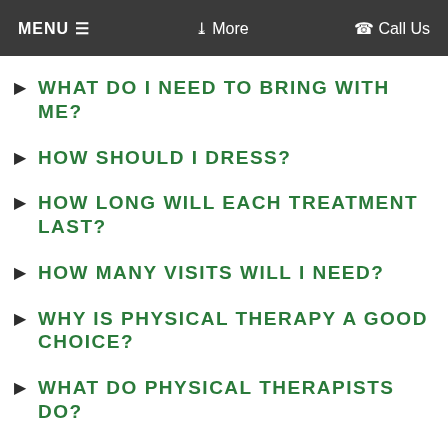MENU ≡   ❯ More   ☎ Call Us
WHAT DO I NEED TO BRING WITH ME?
HOW SHOULD I DRESS?
HOW LONG WILL EACH TREATMENT LAST?
HOW MANY VISITS WILL I NEED?
WHY IS PHYSICAL THERAPY A GOOD CHOICE?
WHAT DO PHYSICAL THERAPISTS DO?